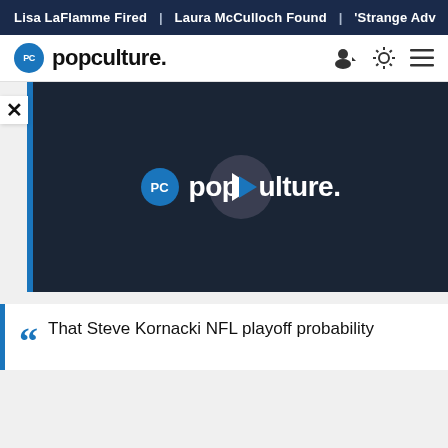Lisa LaFlamme Fired | Laura McCulloch Found | 'Strange Adv
popculture.
[Figure (screenshot): Popculture.com video player showing the popculture logo with a play button overlay on a dark navy background]
That Steve Kornacki NFL playoff probability